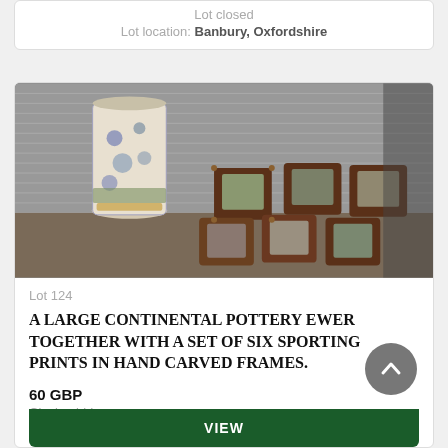Lot closed
Lot location: Banbury, Oxfordshire
[Figure (photo): Photo of a large continental pottery ewer (tall decorative vase with blue and white floral pattern) alongside a set of six sporting prints in hand carved dark wooden frames, displayed on a surface in front of a metal shutter.]
Lot 124
A LARGE CONTINENTAL POTTERY EWER TOGETHER WITH A SET OF SIX SPORTING PRINTS IN HAND CARVED FRAMES.
60 GBP
Closing bid
VIEW